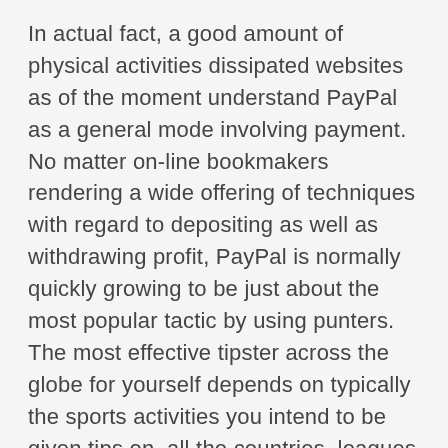In actual fact, a good amount of physical activities dissipated websites as of the moment understand PayPal as a general mode involving payment. No matter on-line bookmakers rendering a wide offering of techniques with regard to depositing as well as withdrawing profit, PayPal is normally quickly growing to be just about the most popular tactic by using punters. The most effective tipster across the globe for yourself depends on typically the sports activities you intend to be given tips on, all the countries, leagues or perhaps real estate markets as well as your appetite for the purpose of risk. Just one various other only two deposit methods much like PayPal seem to be Neteller together with Skrill The two offer you another similar e-wallet kind plan to PayPal still be cautious when fee'south may very